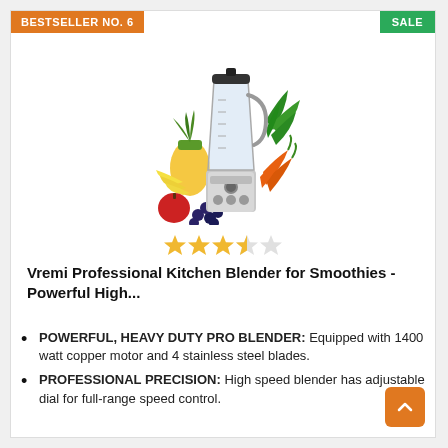BESTSELLER NO. 6
SALE
[Figure (photo): Professional kitchen blender surrounded by fruits and vegetables including pineapple, bananas, apple, blueberries, kale, and carrots]
[Figure (other): 3.5 out of 5 star rating shown as filled and empty gold stars]
Vremi Professional Kitchen Blender for Smoothies - Powerful High...
POWERFUL, HEAVY DUTY PRO BLENDER: Equipped with 1400 watt copper motor and 4 stainless steel blades.
PROFESSIONAL PRECISION: High speed blender has adjustable dial for full-range speed control.